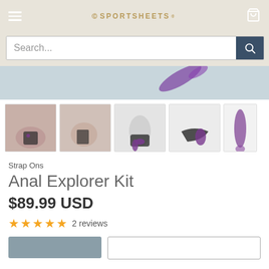Sportsheets
Search...
[Figure (photo): Product thumbnail images of strap-on harness kit in multiple views]
Strap Ons
Anal Explorer Kit
$89.99 USD
★★★★★ 2 reviews